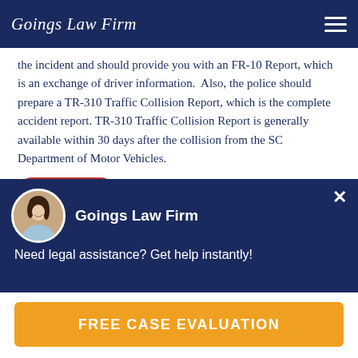Goings Law Firm
the incident and should provide you with an FR-10 Report, which is an exchange of driver information.  Also, the police should prepare a TR-310 Traffic Collision Report, which is the complete accident report. TR-310 Traffic Collision Report is generally available within 30 days after the collision from the SC Department of Motor Vehicles. …orts can become critical to any  insurance claim.  For example, without a police report you are barred
[Figure (screenshot): Red 'Text us!' chat bubble button with speech icon]
[Figure (screenshot): Dark blue chat popup with avatar photo of woman, Goings Law Firm name, close X button, and message: Need legal assistance? Get help instantly!]
FREE CASE EVALUATION